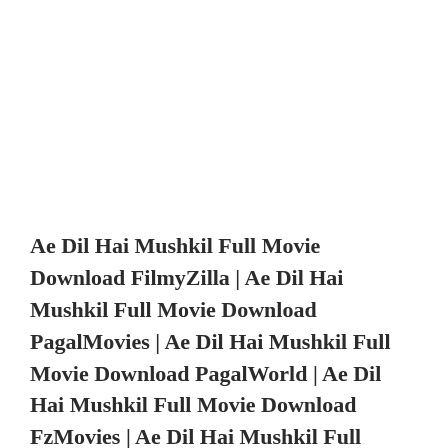Ae Dil Hai Mushkil Full Movie Download FilmyZilla | Ae Dil Hai Mushkil Full Movie Download PagalMovies | Ae Dil Hai Mushkil Full Movie Download PagalWorld | Ae Dil Hai Mushkil Full Movie Download FzMovies | Ae Dil Hai Mushkil Full Movie Download Skymovies | Ae Dil Hai Mushkil Full Movie Download Mp4Moviez | Ae Dil Hai Mushkil Full Movie Download MovirzRoot, ae dil hai mushkil